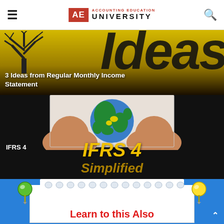AE ACCOUNTING EDUCATION UNIVERSITY
[Figure (illustration): Banner image with yellow gradient background, tree silhouette, and large 'ideas' text. Title overlay reads '3 Ideas from Regular Monthly Income Statement']
3 Ideas from Regular Monthly Income Statement
[Figure (photo): Black background banner with photo of hands holding a globe. Large yellow italic text 'IFRS 4' and gold 'Simplified' text below. Label 'IFRS 4' in white at bottom left.]
IFRS 4
[Figure (illustration): Blue background with white notebook graphic, push pin icons, and red bold text 'Learn to this Also']
Learn to this Also